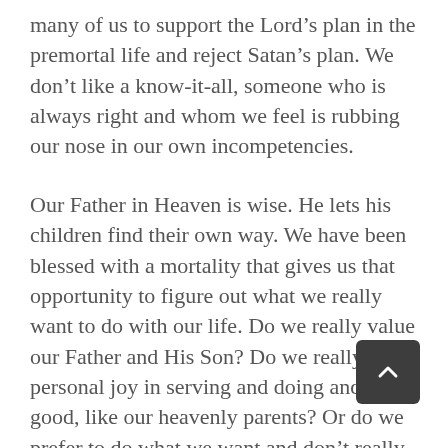many of us to support the Lord’s plan in the premortal life and reject Satan’s plan. We don’t like a know-it-all, someone who is always right and whom we feel is rubbing our nose in our own incompetencies.
Our Father in Heaven is wise. He lets his children find their own way. We have been blessed with a mortality that gives us that opportunity to figure out what we really want to do with our life. Do we really value our Father and His Son? Do we really find personal joy in serving and doing and being good, like our heavenly parents? Or do we prefer to do what we want and don’t really care about the consequences of the eternity that is to follow our little time in mortality?